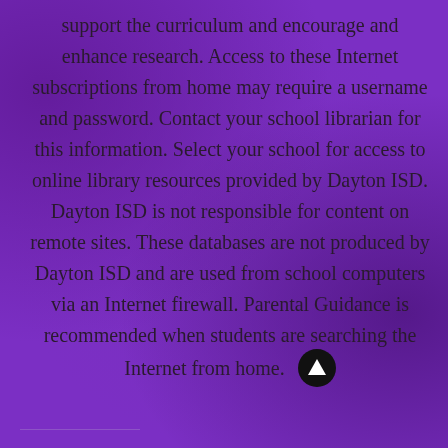support the curriculum and encourage and enhance research. Access to these Internet subscriptions from home may require a username and password. Contact your school librarian for this information. Select your school for access to online library resources provided by Dayton ISD. Dayton ISD is not responsible for content on remote sites. These databases are not produced by Dayton ISD and are used from school computers via an Internet firewall. Parental Guidance is recommended when students are searching the Internet from home.